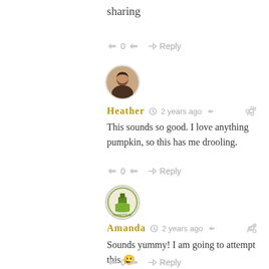sharing
👍 0 👎 → Reply
[Figure (photo): Round avatar photo of Heather, a woman with dark hair]
Heather  🕐 2 years ago  🔗
This sounds so good. I love anything pumpkin, so this has me drooling.
👍 0 👎 → Reply
[Figure (logo): Round avatar with a colorful homestead/farm logo for Amanda]
Amanda  🕐 2 years ago  🔗
Sounds yummy! I am going to attempt this 😀
👍 0 👎 → Reply